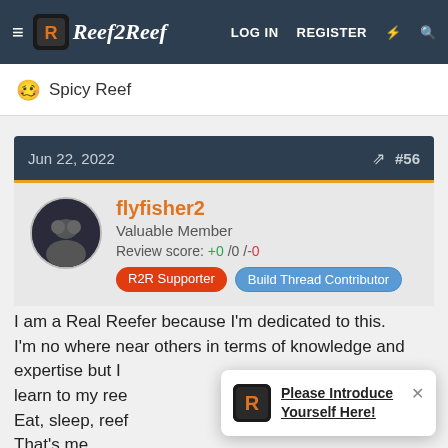Reef2Reef — LOG IN  REGISTER
🥴 Spicy Reef
Jun 22, 2022  #56
flyfisher2
Valuable Member
Review score: +0 /0 /-0
R2R Supporter  Build Thread Contributor
I am a Real Reefer because I'm dedicated to this. I'm no where near others in terms of knowledge and expertise but I learn to my ree… Eat, sleep, reef That's me
Please Introduce Yourself Here!